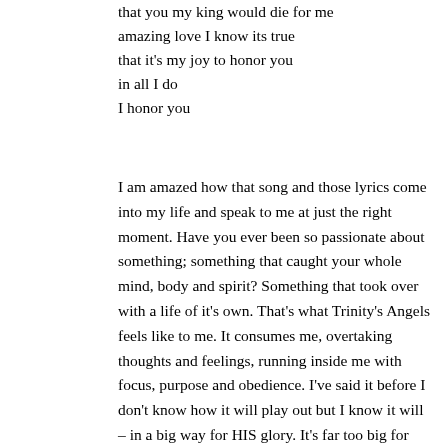that you my king would die for me
amazing love I know its true
that it's my joy to honor you
in all I do
I honor you
I am amazed how that song and those lyrics come into my life and speak to me at just the right moment. Have you ever been so passionate about something; something that caught your whole mind, body and spirit? Something that took over with a life of it's own. That's what Trinity's Angels feels like to me. It consumes me, overtaking thoughts and feelings, running inside me with focus, purpose and obedience. I've said it before I don't know how it will play out but I know it will – in a big way for HIS glory. It's far too big for one or two or three people. It will take a collective effort. It's a call to action that I am asking you join.